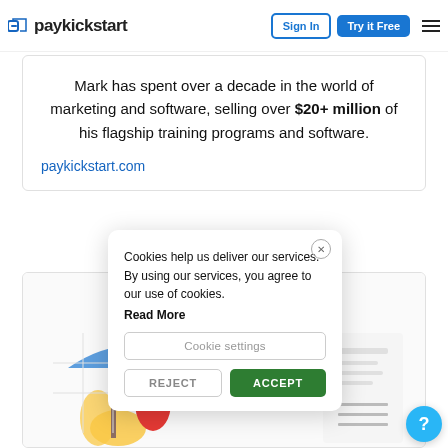businesses and Entrepreneurs sell more, maximize lifetime value and drive more subscription commerce.
paykickstart | Sign In | Try it Free
Mark has spent over a decade in the world of marketing and software, selling over $20+ million of his flagship training programs and software.
paykickstart.com
[Figure (illustration): Illustration of a person working at a computer with decorative plant elements]
Cookies help us deliver our services. By using our services, you agree to our use of cookies. Read More
Cookie settings
REJECT
ACCEPT